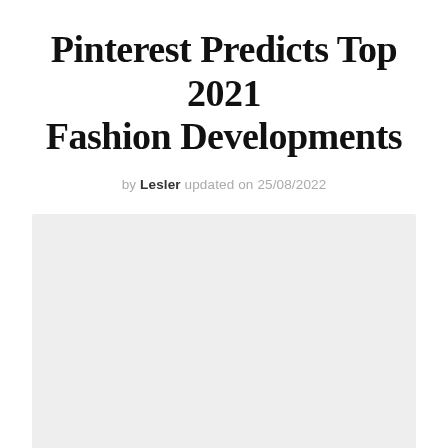Pinterest Predicts Top 2021 Fashion Developments
by Lesler updated on 25/08/2022
[Figure (photo): A large light grey placeholder image area below the article title and byline]